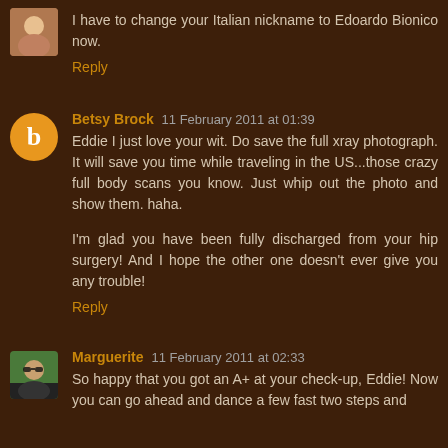I have to change your Italian nickname to Edoardo Bionico now.
Reply
Betsy Brock 11 February 2011 at 01:39
Eddie I just love your wit. Do save the full xray photograph. It will save you time while traveling in the US...those crazy full body scans you know. Just whip out the photo and show them. haha.

I'm glad you have been fully discharged from your hip surgery! And I hope the other one doesn't ever give you any trouble!
Reply
Marguerite 11 February 2011 at 02:33
So happy that you got an A+ at your check-up, Eddie! Now you can go ahead and dance a few fast two steps and